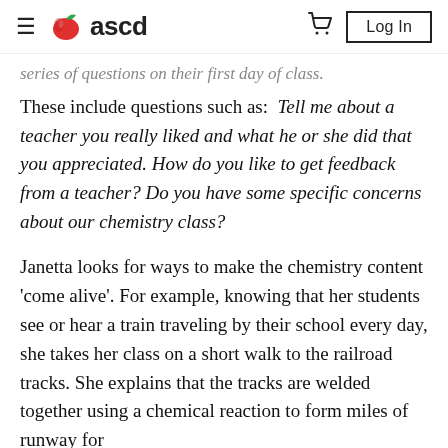ascd — Log In
series of questions on their first day of class.
These include questions such as:  Tell me about a teacher you really liked and what he or she did that you appreciated. How do you like to get feedback from a teacher? Do you have some specific concerns about our chemistry class?
Janetta looks for ways to make the chemistry content 'come alive'. For example, knowing that her students see or hear a train traveling by their school every day, she takes her class on a short walk to the railroad tracks. She explains that the tracks are welded together using a chemical reaction to form miles of runway for